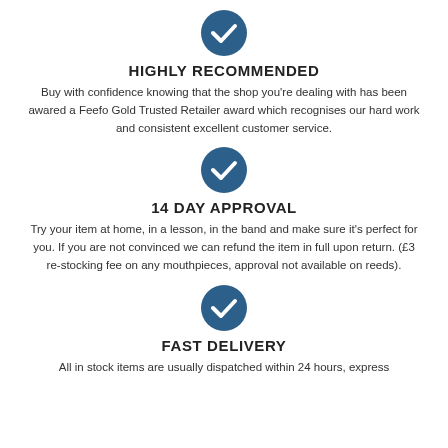[Figure (illustration): Blue circle with white checkmark icon]
HIGHLY RECOMMENDED
Buy with confidence knowing that the shop you're dealing with has been awared a Feefo Gold Trusted Retailer award which recognises our hard work and consistent excellent customer service.
[Figure (illustration): Blue circle with white checkmark icon]
14 DAY APPROVAL
Try your item at home, in a lesson, in the band and make sure it's perfect for you. If you are not convinced we can refund the item in full upon return. (£3 re-stocking fee on any mouthpieces, approval not available on reeds).
[Figure (illustration): Blue circle with white checkmark icon]
FAST DELIVERY
All in stock items are usually dispatched within 24 hours, express